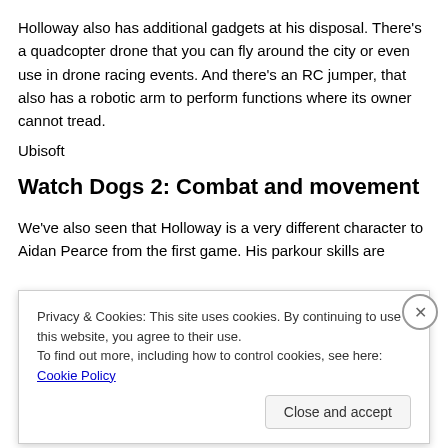Holloway also has additional gadgets at his disposal. There's a quadcopter drone that you can fly around the city or even use in drone racing events. And there's an RC jumper, that also has a robotic arm to perform functions where its owner cannot tread.
Ubisoft
Watch Dogs 2: Combat and movement
We've also seen that Holloway is a very different character to Aidan Pearce from the first game. His parkour skills are
Privacy & Cookies: This site uses cookies. By continuing to use this website, you agree to their use.
To find out more, including how to control cookies, see here: Cookie Policy